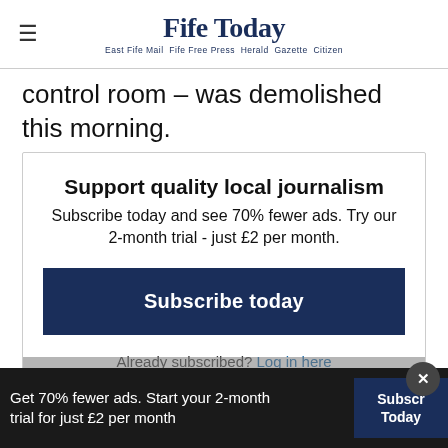Fife Today — East Fife Mail Fife Free Press Herald Gazette Citizen
control room – was demolished this morning.
Support quality local journalism
Subscribe today and see 70% fewer ads. Try our 2-month trial - just £2 per month.
Subscribe today
Already subscribed? Log in here
Get 70% fewer ads. Start your 2-month trial for just £2 per month
Subscribe Today